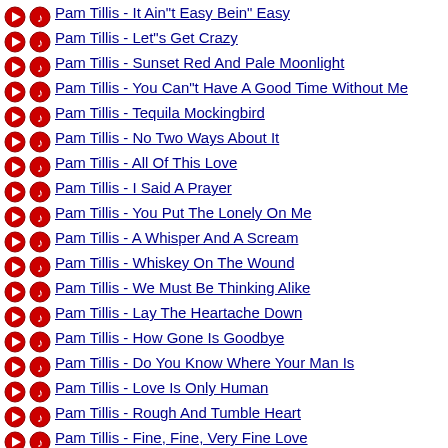Pam Tillis - It Ain"t Easy Bein" Easy
Pam Tillis - Let"s Get Crazy
Pam Tillis - Sunset Red And Pale Moonlight
Pam Tillis - You Can"t Have A Good Time Without Me
Pam Tillis - Tequila Mockingbird
Pam Tillis - No Two Ways About It
Pam Tillis - All Of This Love
Pam Tillis - I Said A Prayer
Pam Tillis - You Put The Lonely On Me
Pam Tillis - A Whisper And A Scream
Pam Tillis - Whiskey On The Wound
Pam Tillis - We Must Be Thinking Alike
Pam Tillis - Lay The Heartache Down
Pam Tillis - How Gone Is Goodbye
Pam Tillis - Do You Know Where Your Man Is
Pam Tillis - Love Is Only Human
Pam Tillis - Rough And Tumble Heart
Pam Tillis - Fine, Fine, Very Fine Love
Pam Tillis - We"ve Tried Everything Else
Pam Tillis - Homeward Looking Angel